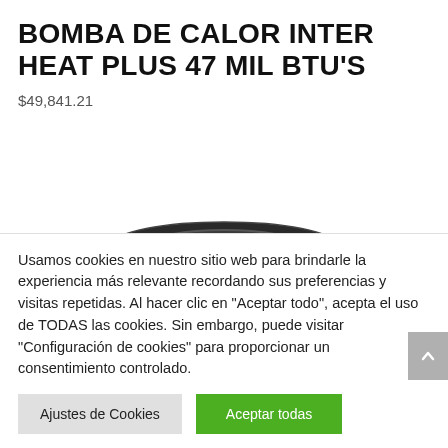BOMBA DE CALOR INTER HEAT PLUS 47 MIL BTU'S
$49,841.21
[Figure (photo): Top portion of a dark cylindrical ring or heat pump unit component, partially visible at the bottom of the product area]
Usamos cookies en nuestro sitio web para brindarle la experiencia más relevante recordando sus preferencias y visitas repetidas. Al hacer clic en "Aceptar todo", acepta el uso de TODAS las cookies. Sin embargo, puede visitar "Configuración de cookies" para proporcionar un consentimiento controlado.
Ajustes de Cookies
Aceptar todas